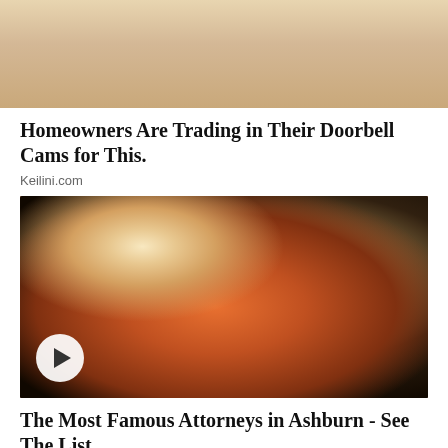[Figure (photo): Partial photo at top of page, showing what appears to be a light-colored fabric or surface, cropped at the top]
Homeowners Are Trading in Their Doorbell Cams for This.
Keilini.com
[Figure (photo): A couple at a formal event — a woman in a red strapless dress and a man in a dark tuxedo with bow tie and white boutonniere, standing in a ballroom setting. A play button overlay is visible at the bottom left.]
The Most Famous Attorneys in Ashburn - See The List